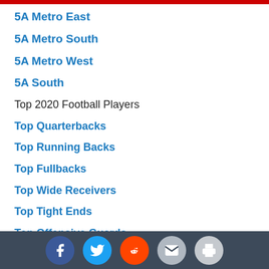5A Metro East
5A Metro South
5A Metro West
5A South
Top 2020 Football Players
Top Quarterbacks
Top Running Backs
Top Fullbacks
Top Wide Receivers
Top Tight Ends
Top Offensive Guards
Top Offensive Tackles
Top Defensive Ends